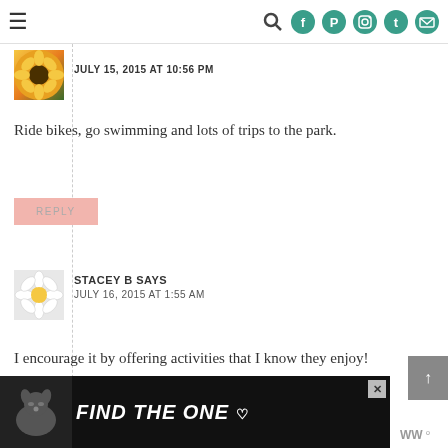Navigation bar with hamburger menu and social icons (search, facebook, pinterest, instagram, twitter, email)
JULY 15, 2015 AT 10:56 PM
Ride bikes, go swimming and lots of trips to the park.
REPLY
STACEY B SAYS
JULY 16, 2015 AT 1:55 AM
I encourage it by offering activities that I know they enjoy!
[Figure (photo): Ad banner with dog photo and text FIND THE ONE with a heart, dark background]
[Figure (logo): WD logo in bottom right corner]